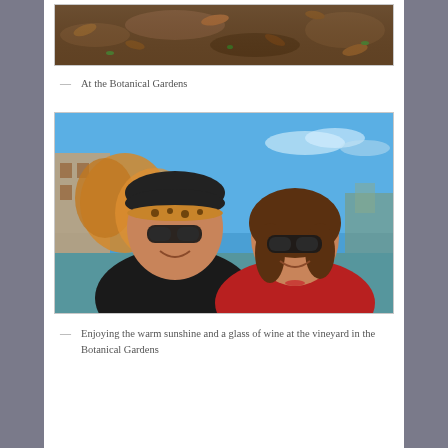[Figure (photo): Top portion of a photo showing soil/ground with dead leaves and small plant sprouts]
At the Botanical Gardens
[Figure (photo): Selfie of two women smiling outdoors with blue sky and autumn foliage in the background. Left woman wears black coat and leopard-print hat with sunglasses; right woman wears red coat and dark sunglasses.]
Enjoying the warm sunshine and a glass of wine at the vineyard in the Botanical Gardens